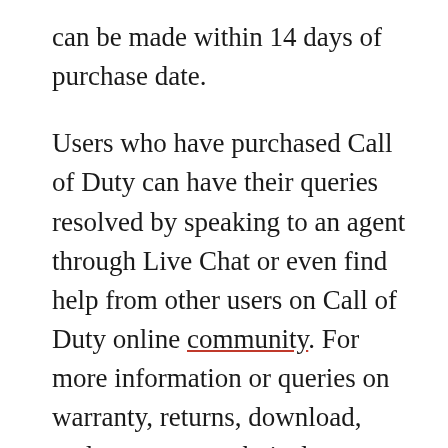can be made within 14 days of purchase date.

Users who have purchased Call of Duty can have their queries resolved by speaking to an agent through Live Chat or even find help from other users on Call of Duty online community. For more information or queries on warranty, returns, download, updates, apps, technical support, or others, reach the customer service.